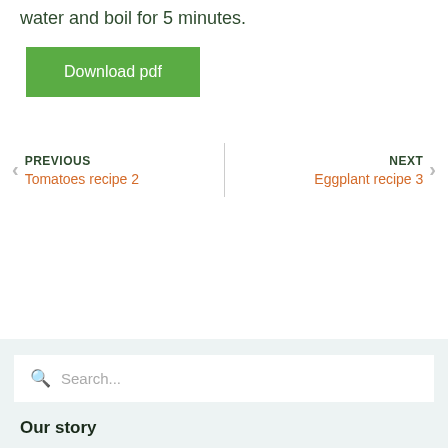water and boil for 5 minutes.
Download pdf
PREVIOUS
Tomatoes recipe 2
NEXT
Eggplant recipe 3
Search...
Our story